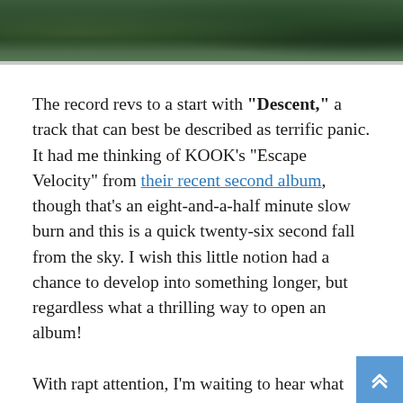[Figure (photo): Dark green forest/nature scene photograph strip at the top of the page]
The record revs to a start with "Descent," a track that can best be described as terrific panic. It had me thinking of KOOK's "Escape Velocity" from their recent second album, though that's an eight-and-a-half minute slow burn and this is a quick twenty-six second fall from the sky. I wish this little notion had a chance to develop into something longer, but regardless what a thrilling way to open an album!
With rapt attention, I'm waiting to hear what comes next. The ship seems to have crash landed deep inside a "Gargantuan Forest." As an aside, it would be a blast to smoke a bowl o' something (anything, really) with Erik